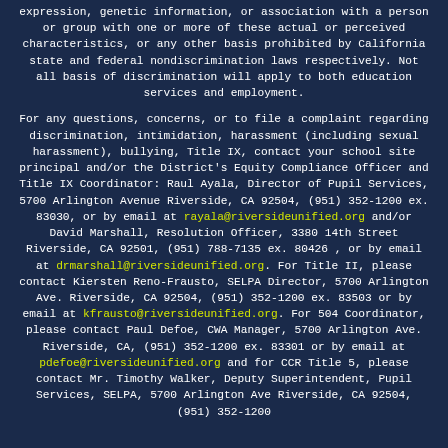expression, genetic information, or association with a person or group with one or more of these actual or perceived characteristics, or any other basis prohibited by California state and federal nondiscrimination laws respectively. Not all basis of discrimination will apply to both education services and employment.
For any questions, concerns, or to file a complaint regarding discrimination, intimidation, harassment (including sexual harassment), bullying, Title IX, contact your school site principal and/or the District's Equity Compliance Officer and Title IX Coordinator: Raul Ayala, Director of Pupil Services, 5700 Arlington Avenue Riverside, CA 92504, (951) 352-1200 ex. 83030, or by email at rayala@riversideunified.org and/or David Marshall, Resolution Officer, 3380 14th Street Riverside, CA 92501, (951) 788-7135 ex. 80426 , or by email at drmarshall@riversideunified.org. For Title II, please contact Kiersten Reno-Frausto, SELPA Director, 5700 Arlington Ave. Riverside, CA 92504, (951) 352-1200 ex. 83503 or by email at kfrausto@riversideunified.org. For 504 Coordinator, please contact Paul Defoe, CWA Manager, 5700 Arlington Ave. Riverside, CA, (951) 352-1200 ex. 83301 or by email at pdefoe@riversideunified.org and for CCR Title 5, please contact Mr. Timothy Walker, Deputy Superintendent, Pupil Services, SELPA, 5700 Arlington Ave Riverside, CA 92504, (951) 352-1200 ex. 83503 or by email at twalker@riversideunified.org